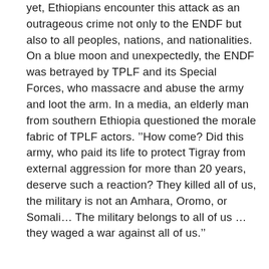yet, Ethiopians encounter this attack as an outrageous crime not only to the ENDF but also to all peoples, nations, and nationalities. On a blue moon and unexpectedly, the ENDF was betrayed by TPLF and its Special Forces, who massacre and abuse the army and loot the arm. In a media, an elderly man from southern Ethiopia questioned the morale fabric of TPLF actors. ''How come? Did this army, who paid its life to protect Tigray from external aggression for more than 20 years, deserve such a reaction? They killed all of us, the military is not an Amhara, Oromo, or Somali… The military belongs to all of us … they waged a war against all of us.''